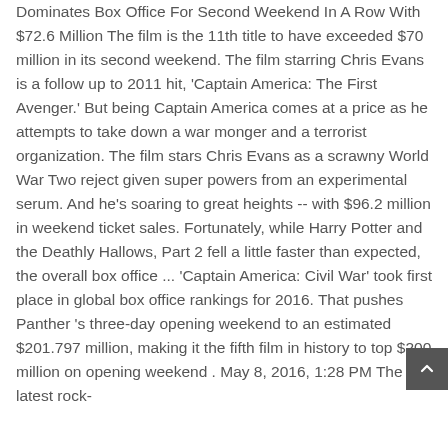Dominates Box Office For Second Weekend In A Row With $72.6 Million The film is the 11th title to have exceeded $70 million in its second weekend. The film starring Chris Evans is a follow up to 2011 hit, 'Captain America: The First Avenger.' But being Captain America comes at a price as he attempts to take down a war monger and a terrorist organization. The film stars Chris Evans as a scrawny World War Two reject given super powers from an experimental serum. And he's soaring to great heights -- with $96.2 million in weekend ticket sales. Fortunately, while Harry Potter and the Deathly Hallows, Part 2 fell a little faster than expected, the overall box office ... 'Captain America: Civil War' took first place in global box office rankings for 2016. That pushes Panther 's three-day opening weekend to an estimated $201.797 million, making it the fifth film in history to top $200 million on opening weekend . May 8, 2016, 1:28 PM The latest rock-